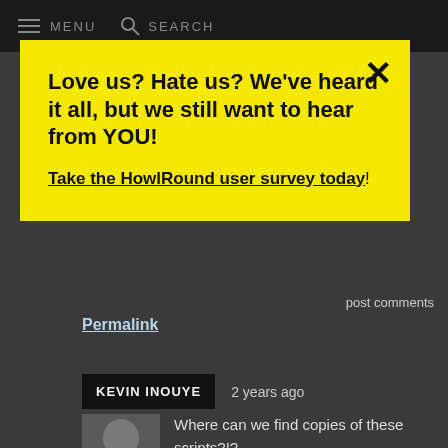MENU  SEARCH
Love us? Hate us? We've heard it all, but we still want to hear from YOU!

Take the HowlRound user survey today!
post comments
Permalink
KEVIN INOUYE  2 years ago
Where can we find copies of these scripts?!?